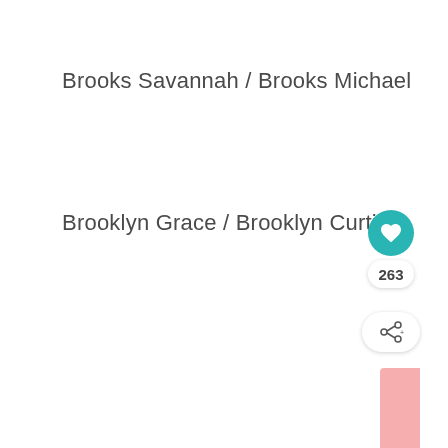Brooks Savannah / Brooks Michael
Brooklyn Grace / Brooklyn Curtis
[Figure (other): Gray rectangular placeholder box with UI elements: a teal heart/favorite button, a count badge showing 263, a share button, and a pink corner accent.]